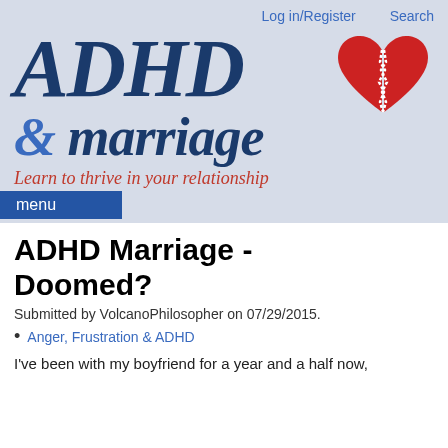Log in/Register    Search
[Figure (logo): ADHD & marriage logo with broken heart icon on light blue background]
Learn to thrive in your relationship
menu
ADHD Marriage - Doomed?
Submitted by VolcanoPhilosopher on 07/29/2015.
Anger, Frustration & ADHD
I've been with my boyfriend for a year and a half now,